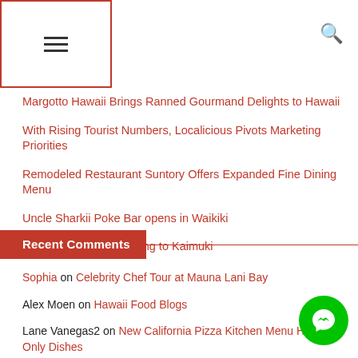Menu icon and search icon
Margotto Hawaii Brings Ranned Gourmand Delights to Hawaii
With Rising Tourist Numbers, Localicious Pivots Marketing Priorities
Remodeled Restaurant Suntory Offers Expanded Fine Dining Menu
Uncle Sharkii Poke Bar opens in Waikiki
Chubbies Burgers coming to Kaimuki
Recent Comments
Sophia on Celebrity Chef Tour at Mauna Lani Bay
Alex Moen on Hawaii Food Blogs
Lane Vanegas2 on New California Pizza Kitchen Menu Hawaii-Only Dishes